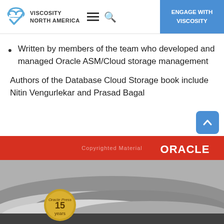[Figure (logo): Viscosity North America logo with cloud and V checkmark icon, hamburger menu icon, and search icon on the left; blue 'ENGAGE WITH VISCOSITY' button on the right]
Written by members of the team who developed and managed Oracle ASM/Cloud storage management
Authors of the Database Cloud Storage book include Nitin Vengurlekar and Prasad Bagal
[Figure (photo): Bottom portion showing an Oracle Press book cover with red Oracle header band, 'Copyrighted Material' watermark text, Oracle logo in white, gold '15 years' Oracle Press seal, and black-and-white photo of rolled papers/documents]